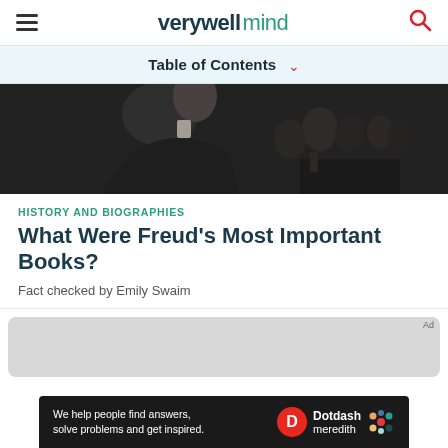verywell mind
Table of Contents
[Figure (photo): Black and white photograph of Sigmund Freud at a gathering or event, with a crowd visible in the background]
HISTORY AND BIOGRAPHIES
What Were Freud's Most Important Books?
Fact checked by Emily Swaim
[Figure (screenshot): Advertisement banner: 'We help people find answers, solve problems and get inspired.' with Dotdash Meredith logo]